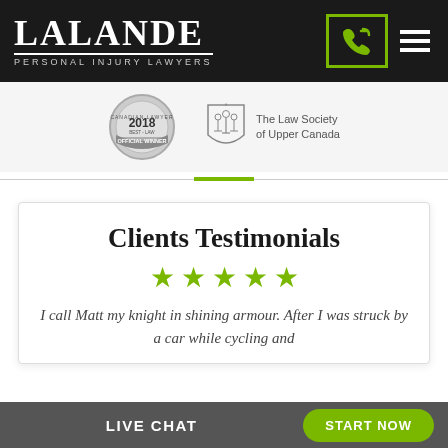LALANDE PERSONAL INJURY LAWYERS
[Figure (logo): 2018 Official Winner badge/seal (silver)]
[Figure (logo): The Law Society of Upper Canada crest with figures]
The Law Society of Upper Canada
Clients Testimonials
★★★★★
I call Matt my knight in shining armour. After I was struck by a car while cycling and
LIVE CHAT   START NOW